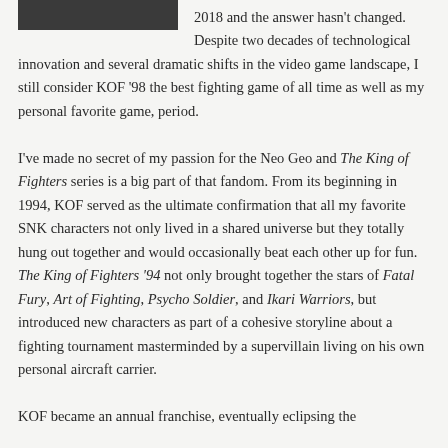[Figure (other): Dark rectangular image block at top left]
2018 and the answer hasn't changed. Despite two decades of technological innovation and several dramatic shifts in the video game landscape, I still consider KOF '98 the best fighting game of all time as well as my personal favorite game, period.
I've made no secret of my passion for the Neo Geo and The King of Fighters series is a big part of that fandom. From its beginning in 1994, KOF served as the ultimate confirmation that all my favorite SNK characters not only lived in a shared universe but they totally hung out together and would occasionally beat each other up for fun. The King of Fighters '94 not only brought together the stars of Fatal Fury, Art of Fighting, Psycho Soldier, and Ikari Warriors, but introduced new characters as part of a cohesive storyline about a fighting tournament masterminded by a supervillain living on his own personal aircraft carrier.
KOF became an annual franchise, eventually eclipsing the